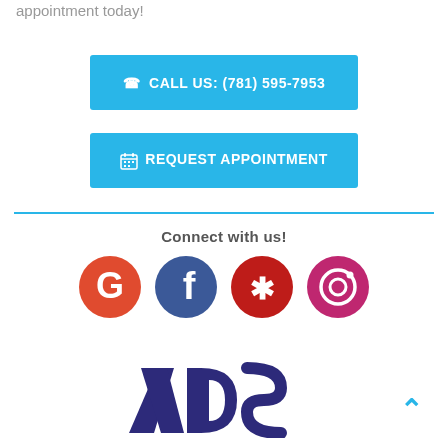appointment today!
[Figure (other): Blue button: CALL US: (781) 595-7953 with phone icon]
[Figure (other): Blue button: REQUEST APPOINTMENT with calendar icon]
Connect with us!
[Figure (other): Social media icons: Google, Facebook, Yelp, Instagram]
[Figure (logo): ADS company logo in dark purple/navy]
[Figure (other): Back to top arrow button in cyan/blue]